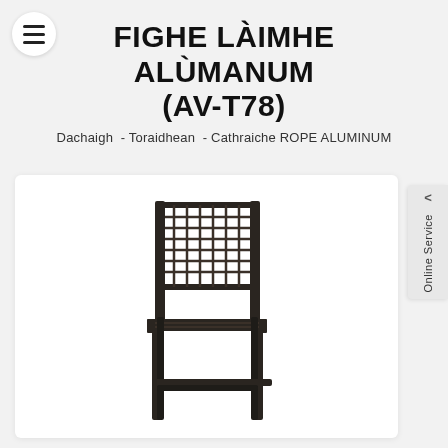FIGHE LÀIMHE ALÙMANUM (AV-T78)
Dachaigh  - Toraidhean  - Cathraiche ROPE ALUMINUM
[Figure (photo): A dark brown/black woven rope aluminum dining chair with a square woven backrest and aluminum frame legs, photographed on a white background.]